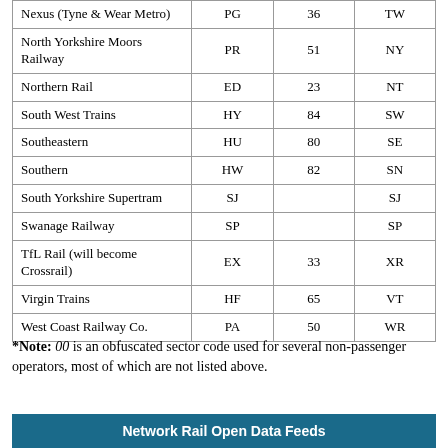| Nexus (Tyne & Wear Metro) | PG | 36 | TW |
| North Yorkshire Moors Railway | PR | 51 | NY |
| Northern Rail | ED | 23 | NT |
| South West Trains | HY | 84 | SW |
| Southeastern | HU | 80 | SE |
| Southern | HW | 82 | SN |
| South Yorkshire Supertram | SJ |  | SJ |
| Swanage Railway | SP |  | SP |
| TfL Rail (will become Crossrail) | EX | 33 | XR |
| Virgin Trains | HF | 65 | VT |
| West Coast Railway Co. | PA | 50 | WR |
*Note: 00 is an obfuscated sector code used for several non-passenger operators, most of which are not listed above.
Network Rail Open Data Feeds